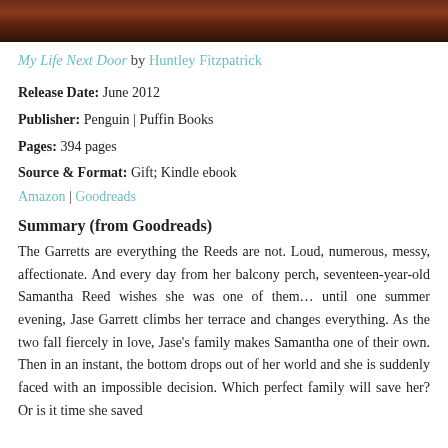[Figure (photo): Top portion of a book cover image, dark reddish-brown tones]
My Life Next Door by Huntley Fitzpatrick
Release Date: June 2012
Publisher: Penguin | Puffin Books
Pages: 394 pages
Source & Format: Gift; Kindle ebook
Amazon | Goodreads
Summary (from Goodreads)
The Garretts are everything the Reeds are not. Loud, numerous, messy, affectionate. And every day from her balcony perch, seventeen-year-old Samantha Reed wishes she was one of them… until one summer evening, Jase Garrett climbs her terrace and changes everything. As the two fall fiercely in love, Jase's family makes Samantha one of their own. Then in an instant, the bottom drops out of her world and she is suddenly faced with an impossible decision. Which perfect family will save her? Or is it time she saved